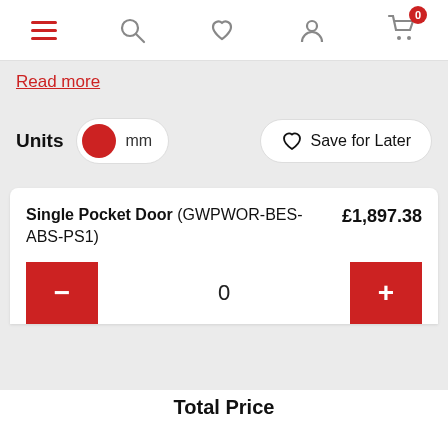[Figure (screenshot): Navigation bar with hamburger menu (red), search icon, heart icon, user icon, and cart icon with badge showing 0]
Read more
Units   mm   Save for Later
Single Pocket Door (GWPWOR-BES-ABS-PS1)   £1,897.38
- 0 +
Total Price
£0.00
Choose product